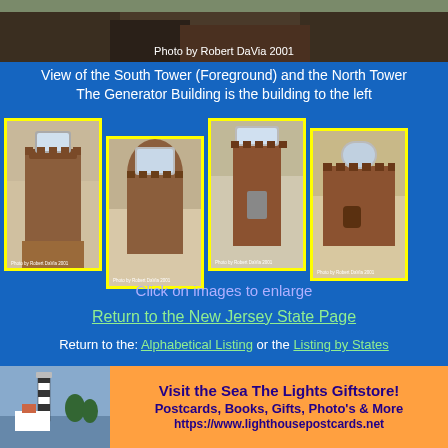[Figure (photo): Top photo of South Tower (foreground) and North Tower of a lighthouse with Generator Building to the left]
Photo by Robert DaVia 2001
View of the South Tower (Foreground) and the North Tower
The Generator Building is the building to the left
[Figure (photo): Four thumbnail photos of lighthouse towers, each credited Photo by Robert DaVia 2001]
Click on images to enlarge
Return to the New Jersey State Page
Return to the: Alphabetical Listing or the Listing by States
[Figure (photo): Banner image with lighthouse photo on the left and orange promotional panel on the right reading: Visit the Sea The Lights Giftstore! Postcards, Books, Gifts, Photo's & More https://www.lighthousepostcards.net]